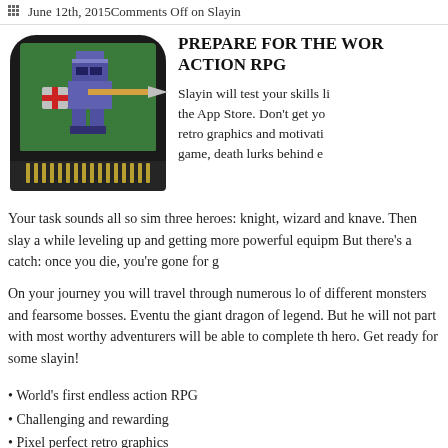June 12th, 2015Comments Off on Slayin
[Figure (illustration): App icon for Slayin — a rounded square dark icon showing a pixel-art knight/warrior character holding a lance/spear on a green background, with retro game cartridge styling at the bottom including gold contact pins]
PREPARE FOR THE WORST ACTION RPG
Slayin will test your skills like nothing else in the App Store. Don't get you wrong, we love retro graphics and motivating chiptune. But in this game, death lurks behind e
Your task sounds all so simple: choose from three heroes: knight, wizard and knave. Then slay all monsters while leveling up and getting more powerful equipm... But there's a catch: once you die, you're gone for g
On your journey you will travel through numerous lo of different monsters and fearsome bosses. Eventu the giant dragon of legend. But he will not part with most worthy adventurers will be able to complete th hero. Get ready for some slayin!
World's first endless action RPG
Challenging and rewarding
Pixel perfect retro graphics
Chiptune soundtrack by Matt Creamer (Retro City